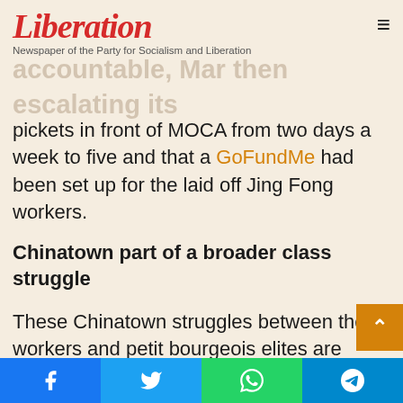Liberation — Newspaper of the Party for Socialism and Liberation
accountable, Mar then escalating its pickets in front of MOCA from two days a week to five and that a GoFundMe had been set up for the laid off Jing Fong workers.
Chinatown part of a broader class struggle
These Chinatown struggles between the workers and petit bourgeois elites are symptomatic of a larger overall trend of those in power cynically co-opting identity politics in order to obscure the antagonisms of class relations. Here in New York City, Democratic mayoral candidate Eric Adams, along with the political machine behind him, has